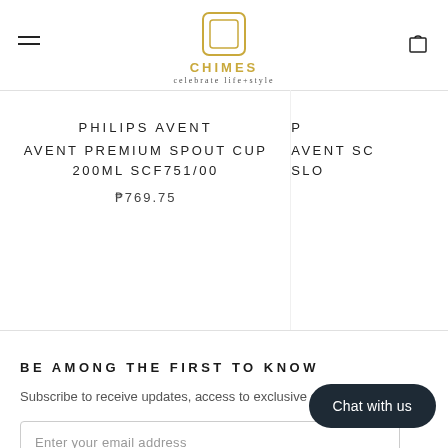CHIMES — celebrate life+style
PHILIPS AVENT
AVENT PREMIUM SPOUT CUP 200ML SCF751/00
₱769.75
P
AVENT SC
SLO
BE AMONG THE FIRST TO KNOW
Subscribe to receive updates, access to exclusive deals, and more.
Enter your email address
Chat with us